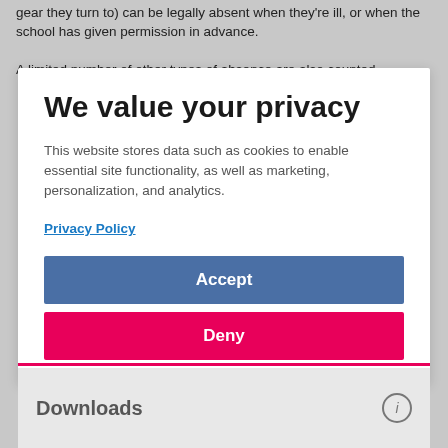gear they turn to) can be legally absent when they're ill, or when the school has given permission in advance.
A limited number of other types of absence are also counted
We value your privacy
This website stores data such as cookies to enable essential site functionality, as well as marketing, personalization, and analytics.
Privacy Policy
Accept
Deny
Downloads